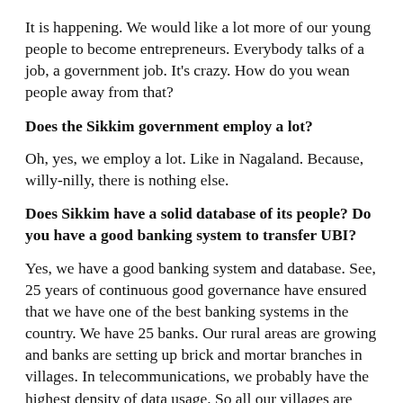It is happening. We would like a lot more of our young people to become entrepreneurs. Everybody talks of a job, a government job. It's crazy. How do you wean people away from that?
Does the Sikkim government employ a lot?
Oh, yes, we employ a lot. Like in Nagaland. Because, willy-nilly, there is nothing else.
Does Sikkim have a solid database of its people? Do you have a good banking system to transfer UBI?
Yes, we have a good banking system and database. See, 25 years of continuous good governance have ensured that we have one of the best banking systems in the country. We have 25 banks. Our rural areas are growing and banks are setting up brick and mortar branches in villages. In telecommunications, we probably have the highest density of data usage. So all our villages are connected. Direct Benefit Transfer